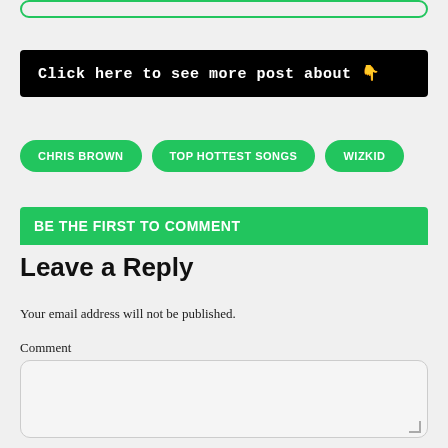Click here to see more post about 👇
CHRIS BROWN
TOP HOTTEST SONGS
WIZKID
BE THE FIRST TO COMMENT
Leave a Reply
Your email address will not be published.
Comment